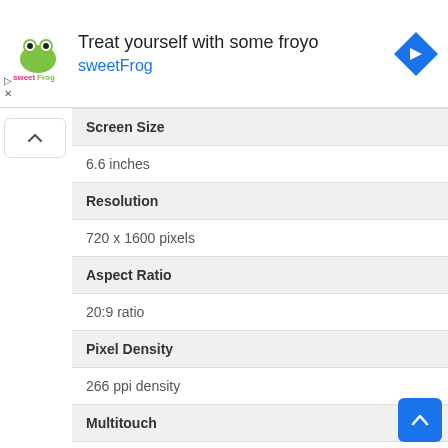[Figure (screenshot): SweetFrog advertisement banner with logo, text 'Treat yourself with some froyo sweetFrog', and a blue diamond navigation icon]
| Spec | Value |
| --- | --- |
| Screen Size | 6.6 inches |
| Resolution | 720 x 1600 pixels |
| Aspect Ratio | 20:9 ratio |
| Pixel Density | 266 ppi density |
| Multitouch | Yes |